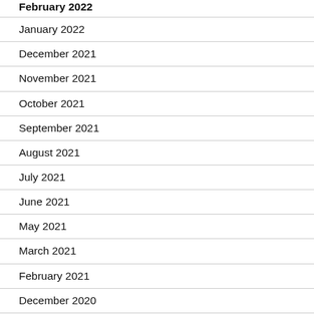February 2022
January 2022
December 2021
November 2021
October 2021
September 2021
August 2021
July 2021
June 2021
May 2021
March 2021
February 2021
December 2020
November 2020